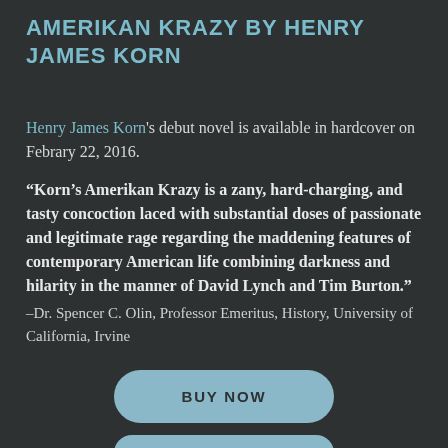AMERIKAN KRAZY BY HENRY JAMES KORN
Henry James Korn's debut novel is available in hardcover on Febrary 22, 2016.
“Korn’s Amerikan Krazy is a zany, hard-charging, and tasty concoction laced with substantial doses of passionate and legitimate rage regarding the maddening features of contemporary American life combining darkness and hilarity in the manner of David Lynch and Tim Burton.” –Dr. Spencer C. Olin, Professor Emeritus, History, University of California, Irvine
BUY NOW